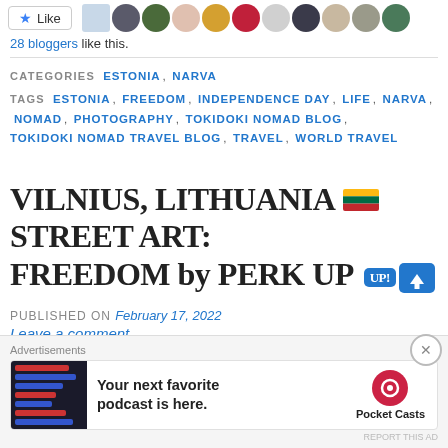[Figure (other): Like button with star icon and a row of blogger avatar thumbnails]
28 bloggers like this.
CATEGORIES  ESTONIA, NARVA
TAGS  ESTONIA, FREEDOM, INDEPENDENCE DAY, LIFE, NARVA, NOMAD, PHOTOGRAPHY, TOKIDOKI NOMAD BLOG, TOKIDOKI NOMAD TRAVEL BLOG, TRAVEL, WORLD TRAVEL
VILNIUS, LITHUANIA 🇱🇹 STREET ART: FREEDOM by PERK UP 🆙 ⬆️
PUBLISHED ON February 17, 2022
Leave a comment
[Figure (screenshot): Advertisement banner for Pocket Casts podcast app with text: Your next favorite podcast is here.]